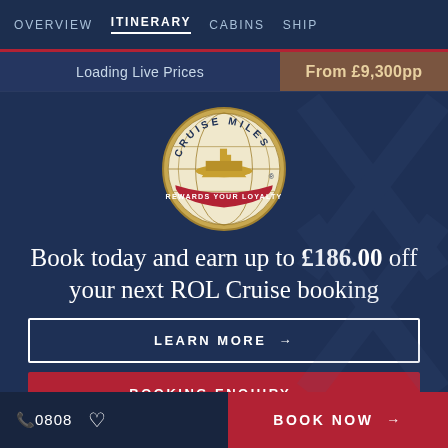OVERVIEW  ITINERARY  CABINS  SHIP
Loading Live Prices
From £9,300pp
[Figure (logo): Cruise Miles Rewards Your Loyalty circular logo with gold ship on globe and red banner]
Book today and earn up to £186.00 off your next ROL Cruise booking
LEARN MORE →
BOOKING ENQUIRY →
📞 0808  ♡   BOOK NOW →